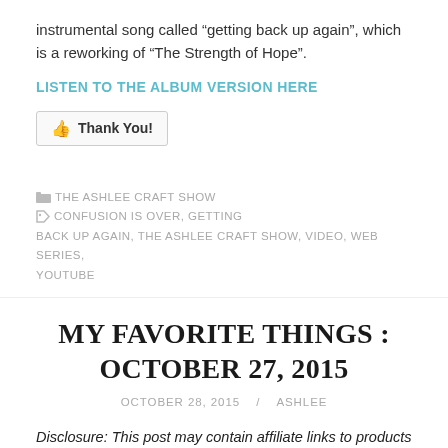instrumental song called “getting back up again”, which is a reworking of “The Strength of Hope”.
LISTEN TO THE ALBUM VERSION HERE
👍 Thank You!
THE ASHLEE CRAFT SHOW   CONFUSION IS OVER, GETTING BACK UP AGAIN, THE ASHLEE CRAFT SHOW, VIDEO, WEB SERIES, YOUTUBE
MY FAVORITE THINGS : OCTOBER 27, 2015
OCTOBER 28, 2015 / ASHLEE
Disclosure: This post may contain affiliate links to products that I recommend. When you click on an affiliate link to a product